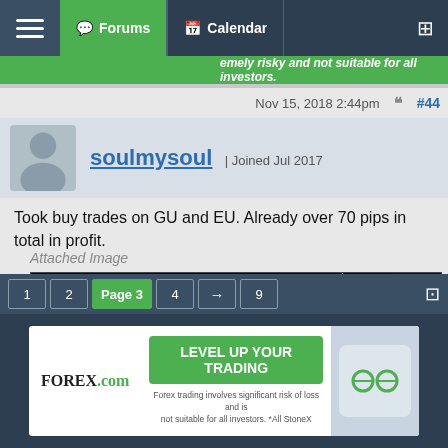Forums | Calendar
extremely risky and not suitable for all investors.
Nov 15, 2018 2:44pm  #44
soulmysoul | Joined Jul 2017
Took buy trades on GU and EU. Already over 70 pips in total in profit.
Attached Image
[Figure (screenshot): Forex candlestick chart (EU/USD) showing blue and red candles on black background with price levels around 1.1315–1.1361, with a horizontal green dashed support line and a vertical white dashed line.]
1  2  Page 3  4  →  9
[Figure (infographic): Forex.com advertisement: LEVEL UP YOUR TRADING. Forex trading involves significant risk of loss and is not suitable for all investors. *All StoneX]